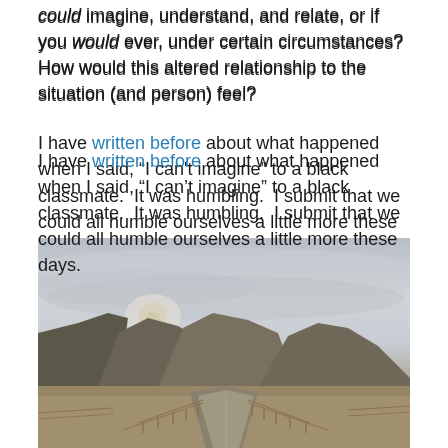could imagine, understand, and relate, or if you would ever, under certain circumstances?  How would this altered relationship to the situation (and person) feel?
I have written before about what happened when I said, "I can't imagine" to a black classmate.  It was humbling.  I submit that we could all humble ourselves a little more these days.
[Figure (photo): Landscape photograph of a rural road stretching into the distance toward low mountains, with a dramatic overcast sky and hazy sun visible through clouds. Wooden fence lines run along both sides of the road. Dry brown fields visible in the foreground.]